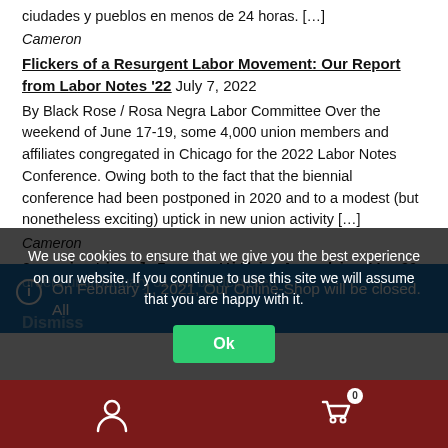ciudades y pueblos en menos de 24 horas. […]
Cameron
Flickers of a Resurgent Labor Movement: Our Report from Labor Notes '22 July 7, 2022
By Black Rose / Rosa Negra Labor Committee Over the weekend of June 17-19, some 4,000 union members and affiliates congregated in Chicago for the 2022 Labor Notes Conference. Owing both to the fact that the biennial conference had been postponed in 2020 and to a modest (but nonetheless exciting) uptick in new union activity […]
Cameron
Organizational Issues Within Anarchism May 29, 2022
by Errico… This article was originally published in 2010 by the
On February 1, 2021, Our Online-Shop will be closed. All
orders until January 31 will be delivered
Dismiss
We use cookies to ensure that we give you the best experience on our website. If you continue to use this site we will assume that you are happy with it.
Ok